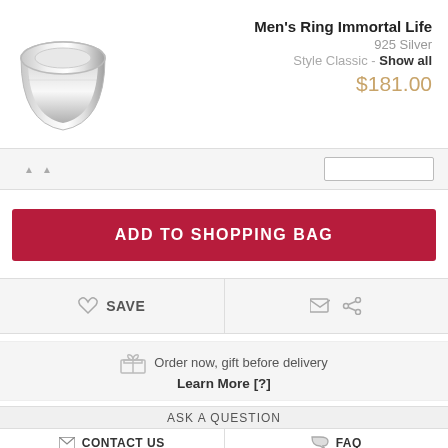[Figure (photo): Silver men's wedding band ring product photo on white background]
Men's Ring Immortal Life
925 Silver
Style Classic - Show all
$181.00
ADD TO SHOPPING BAG
SAVE
Order now, gift before delivery
Learn More [?]
ASK A QUESTION
CONTACT US
FAQ
(888) 631-7760 (Toll-Free)   09:00 - 19:00